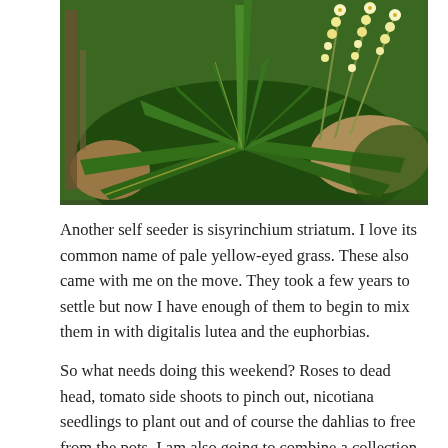[Figure (photo): Photo of sisyrinchium striatum (pale yellow-eyed grass) plant with long green strap-like leaves and clusters of small pale yellow flowers on tall spikes, growing in a garden border.]
Another self seeder is sisyrinchium striatum. I love its common name of pale yellow-eyed grass. These also came with me on the move. They took a few years to settle but now I have enough of them to begin to mix them in with digitalis lutea and the euphorbias.
So what needs doing this weekend? Roses to dead head, tomato side shoots to pinch out, nicotiana seedlings to plant out and of course the dahlias to free from the pots. I am also going to combine a collection of small herb